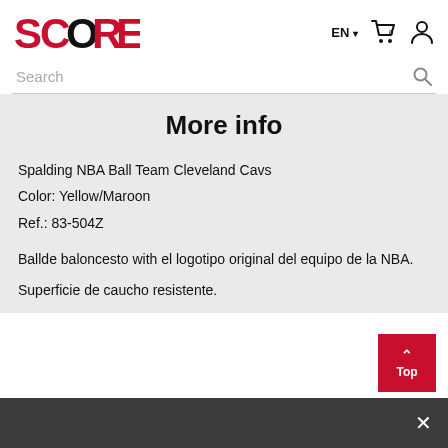SCORER — EN 0 (cart icon) (user icon)
Search
More info
Spalding NBA Ball Team Cleveland Cavs
Color: Yellow/Maroon
Ref.: 83-504Z
Ballde baloncesto with el logotipo original del equipo de la NBA.
Superficie de caucho resistente.
Top ✕